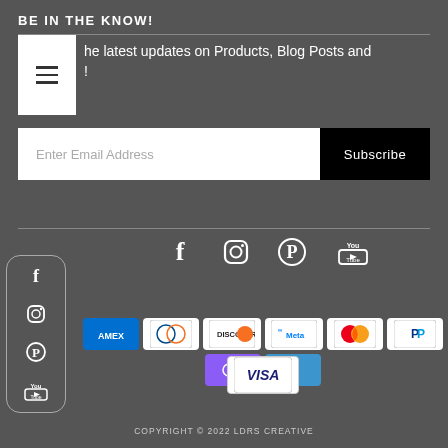BE IN THE KNOW!
he latest updates on Products, Blog Posts and !
Enter Email Address
Subscribe
[Figure (infographic): Social media icons row (Facebook, Instagram, Pinterest, YouTube) and payment method badges (AMEX, Diners, Discover, Meta, Mastercard, PayPal, OPay, Venmo, Visa). Also a floating sidebar with social icons.]
COPYRIGHT © 2022 LDRS CREATIVE